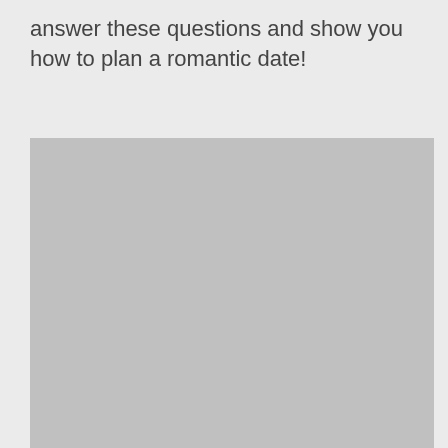answer these questions and show you how to plan a romantic date!
[Figure (photo): A large gray placeholder image block occupying the lower portion of the page.]